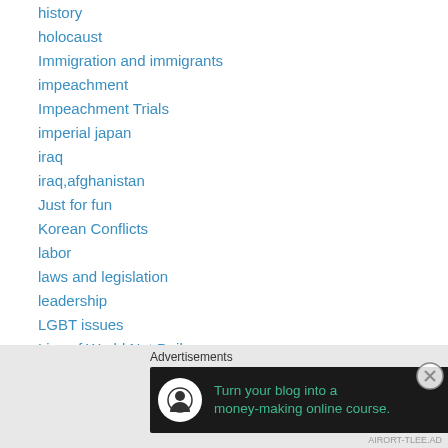history
holocaust
Immigration and immigrants
impeachment
Impeachment Trials
imperial japan
iraq
iraq,afghanistan
Just for fun
Korean Conflicts
labor
laws and legislation
leadership
LGBT issues
Lies of World Net Daily
life
Advertisements
[Figure (other): Advertisement banner: Turn your blog into a money-making online course.]